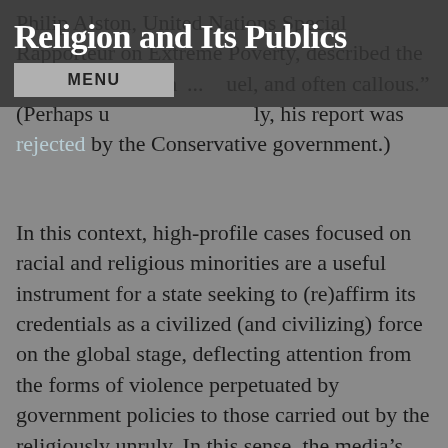Religion and Its Publics
Philip Alston, United Nations Special Rapporteur on Extreme Poverty, described the policies leading th... cruel, and often callous." (Perhaps u... ly, his report was rejected by the Conservative government.)
In this context, high-profile cases focused on racial and religious minorities are a useful instrument for a state seeking to (re)affirm its credentials as a civilized (and civilizing) force on the global stage, deflecting attention from the forms of violence perpetuated by government policies to those carried out by the religiously unruly. In this sense, the media’s response to the case of the frozen limes reflects the politics of empire: “One of the basic paradoxes of British imperialism is that even as it relied so fundamentally on violence, it insisted on presenting itself as opposed to violence, indeed